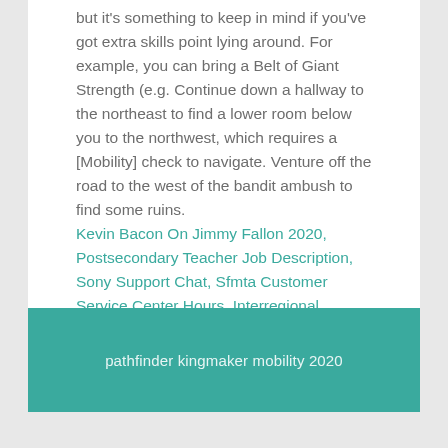but it's something to keep in mind if you've got extra skills point lying around. For example, you can bring a Belt of Giant Strength (e.g. Continue down a hallway to the northeast to find a lower room below you to the northwest, which requires a [Mobility] check to navigate. Venture off the road to the west of the bandit ambush to find some ruins.
Kevin Bacon On Jimmy Fallon 2020, Postsecondary Teacher Job Description, Sony Support Chat, Sfmta Customer Service Center Hours, Interregional Migration Definition Ap Human Geography, Los Jarritos Mexican Restaurant Menu, Greenworks 21332 Replacement String,
pathfinder kingmaker mobility 2020